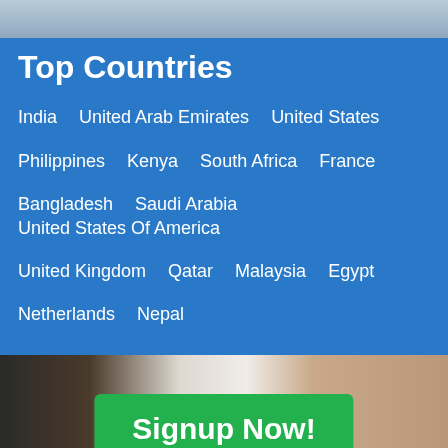[Figure (photo): Partial photo at top of page, appears to show people]
Top Countries
India   United Arab Emirates   United States
Philippines   Kenya   South Africa   France
Bangladesh   Saudi Arabia   United States Of America
United Kingdom   Qatar   Malaysia   Egypt
Netherlands   Nepal
[Figure (photo): Photo of person, with green Signup Now! button overlay]
/ Dating / Indonesia / South Sulawesi / Palopo